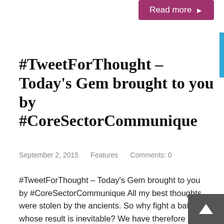Read more ▶
#TweetForThought – Today's Gem brought to you by #CoreSectorCommunique
September 2, 2015    Features    Comments: 0
#TweetForThought – Today's Gem brought to you by #CoreSectorCommunique All my best thoughts were stolen by the ancients. So why fight a battle whose result is inevitable? We have therefore decided to delve deep into the oceans of the past and present one pearl (of wisdom, that is) for you to savour everyday. Hope you ...